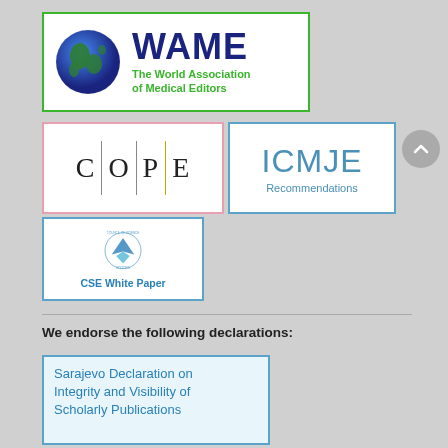[Figure (logo): WAME logo - The World Association of Medical Editors, with globe graphic, green border]
[Figure (logo): COPE logo with pink border, letters C O P E separated by vertical lines]
[Figure (logo): ICMJE Recommendations logo with blue border]
[Figure (logo): CSE White Paper logo with blue border and council of science editors emblem]
We endorse the following declarations:
Sarajevo Declaration on Integrity and Visibility of Scholarly Publications